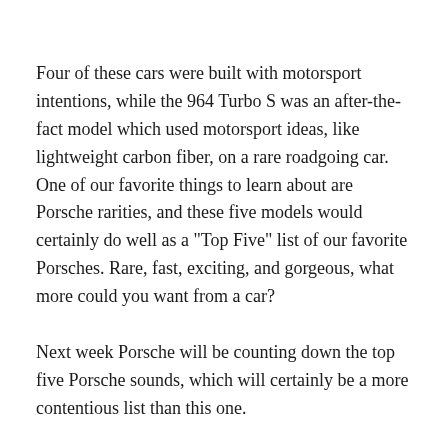Four of these cars were built with motorsport intentions, while the 964 Turbo S was an after-the-fact model which used motorsport ideas, like lightweight carbon fiber, on a rare roadgoing car. One of our favorite things to learn about are Porsche rarities, and these five models would certainly do well as a "Top Five" list of our favorite Porsches. Rare, fast, exciting, and gorgeous, what more could you want from a car?
Next week Porsche will be counting down the top five Porsche sounds, which will certainly be a more contentious list than this one.